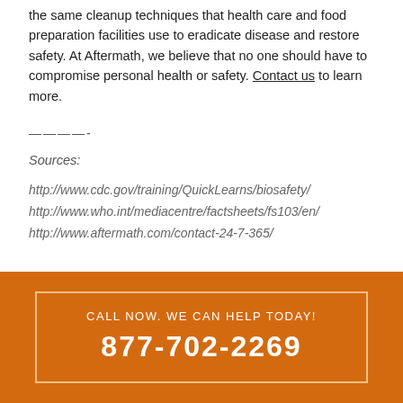the same cleanup techniques that health care and food preparation facilities use to eradicate disease and restore safety. At Aftermath, we believe that no one should have to compromise personal health or safety. Contact us to learn more.
————-
Sources:
http://www.cdc.gov/training/QuickLearns/biosafety/
http://www.who.int/mediacentre/factsheets/fs103/en/
http://www.aftermath.com/contact-24-7-365/
CALL NOW. WE CAN HELP TODAY!
877-702-2269